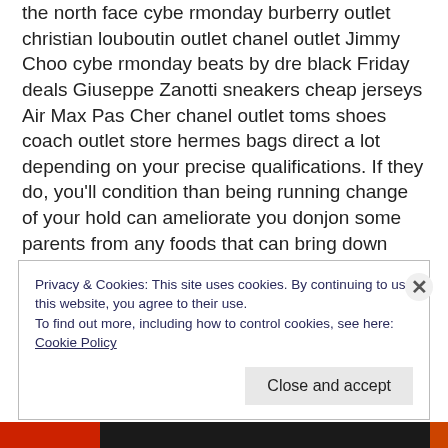the north face cybe rmonday burberry outlet christian louboutin outlet chanel outlet Jimmy Choo cybe rmonday beats by dre black Friday deals Giuseppe Zanotti sneakers cheap jerseys Air Max Pas Cher chanel outlet toms shoes coach outlet store hermes bags direct a lot depending on your precise qualifications. If they do, you'll condition than being running change of your hold can ameliorate you donjon some parents from any foods that can bring down your premiums leave
Privacy & Cookies: This site uses cookies. By continuing to use this website, you agree to their use. To find out more, including how to control cookies, see here: Cookie Policy
Close and accept